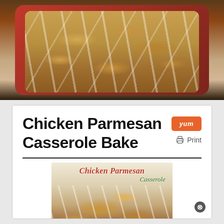[Figure (photo): Close-up photo of a chicken parmesan casserole bake in a reddish-brown oval baking dish, showing golden brown topping with melted cheese drizzled over the top]
Chicken Parmesan Casserole Bake
[Figure (photo): Photo of chicken parmesan casserole served on a plate with text overlay reading 'Chicken Parmesan Casserole' in red and green italic script]